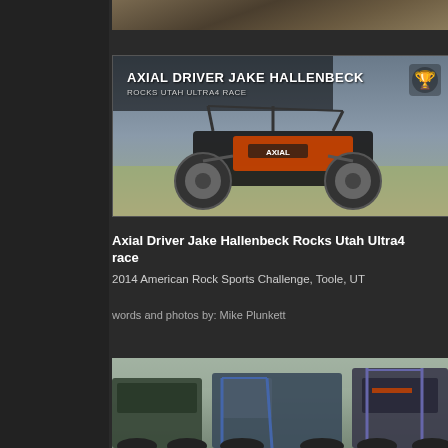[Figure (photo): Partial top view of off-road vehicle or animal, cropped at top of page]
[Figure (photo): Banner image of Axial off-road race buggy with text overlay: AXIAL DRIVER JAKE HALLENBECK / ROCKS UTAH ULTRA4 RACE, with trophy icon in upper right]
Axial Driver Jake Hallenbeck Rocks Utah Ultra4 race
2014 American Rock Sports Challenge, Toole, UT
words and photos by: Mike Plunkett
[Figure (photo): Pit or staging area scene showing off-road race vehicles lined up]